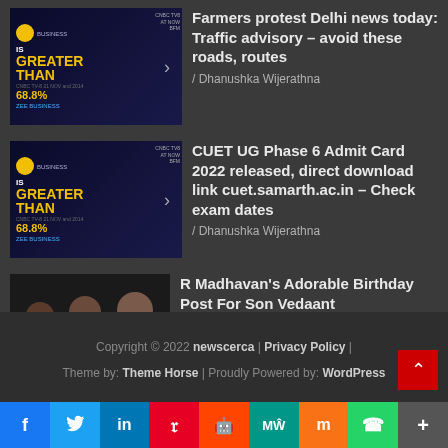Farmers protest Delhi news today: Traffic advisory – avoid these roads, routes / Dhanushka Wijerathna
CUET UG Phase 6 Admit Card 2022 released, direct download link cuet.samarth.ac.in – Check exam dates / Dhanushka Wijerathna
R Madhavan's Adorable Birthday Post For Son Vedaant / Dhanushka Wijerathna
Copyright © 2022 newscerca | Privacy Policy | Theme by: Theme Horse | Proudly Powered by: WordPress